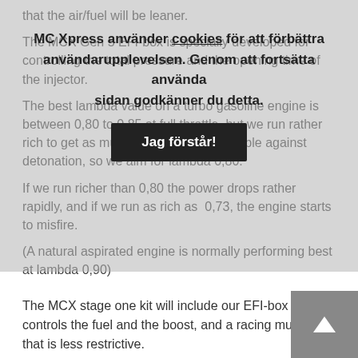that the air/fuel will be leaner. The MCX Gen 5 EFI-box is specially developed for controlling the total pressure and the opening time of the injector. The best lambda value on a turbo gasoline engine is between 0,80 to 0,85 at full throttle, but we run rather rich to get as much safety limit as possible against detonation, so we aim for lambda 0,80. If we run richer than 0,80 the power drops rather rapidly, and if we run as rich as 0,73, the engine starts to misfire. (A natural aspirated engine is normally performing best at lambda 0,90)
MC Xpress använder cookies för att förbättra användarupplevelsen. Genom att fortsätta använda sidan godkänner du detta.
Jag förstår!
The MCX stage one kit will include our EFI-box that controls the fuel and the boost, and a racing muffler that is less restrictive. We have tested some different mufflers. All with low back pressure, but with different noise levels. In many areas in the world, like in Scandinavia, Finland, Russia and the east of Canada and USA,